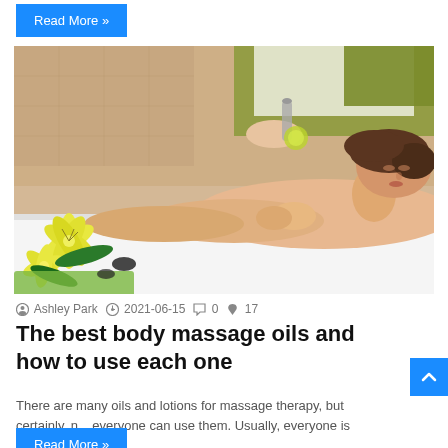Read More »
[Figure (photo): Woman receiving a massage at a spa, lying face down on a massage table with yellow lily flowers and green towel nearby, a therapist pouring massage oil in the background.]
Ashley Park  2021-06-15  0  17
The best body massage oils and how to use each one
There are many oils and lotions for massage therapy, but certainly, not everyone can use them. Usually, everyone is looking…
Read More »